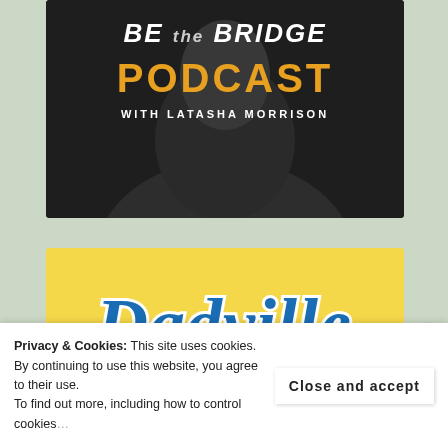[Figure (illustration): Be the Bridge Podcast with Latasha Morrison — dark background podcast cover art with white and orange text, partially showing a person in dark clothing]
[Figure (illustration): Dadville podcast cover — yellow background with blue script 'Dadville' text, a lawn chair illustration, orange sun circle, and text 'FUNNY THOUGHTS.']
Privacy & Cookies: This site uses cookies. By continuing to use this website, you agree to their use. To find out more, including how to control cookies, Close and accept